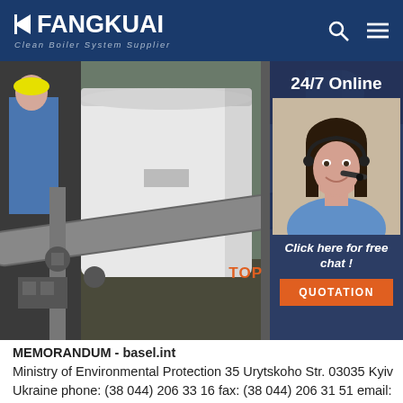FANGKUAI Clean Boiler System Supplier
[Figure (photo): Industrial boiler room with large white cylindrical tank, worker in blue uniform on left, various pipes and valves in foreground. Right side overlay shows 24/7 Online customer service agent (woman with headset), with 'Click here for free chat!' and 'QUOTATION' button.]
MEMORANDUM - basel.int Ministry of Environmental Protection 35 Urytskoho Str. 03035 Kyiv Ukraine phone: (38 044) 206 33 16 fax: (38 044) 206 31 51 email: deb@menr.gov.ua or waste@menr.gov.ua National Centre for Hazardous Waste Management Ministry of Environmental Protection 35 Urytskoho Str. 03035 Kyiv Ukraine phone: (38 044)